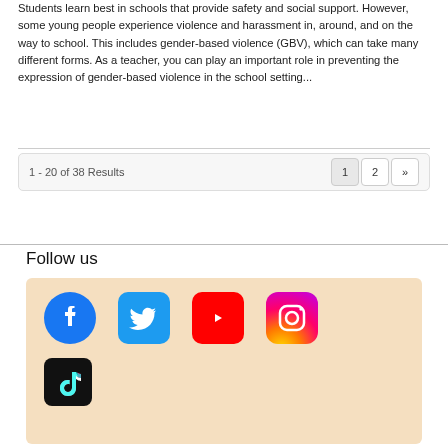Students learn best in schools that provide safety and social support. However, some young people experience violence and harassment in, around, and on the way to school. This includes gender-based violence (GBV), which can take many different forms. As a teacher, you can play an important role in preventing the expression of gender-based violence in the school setting...
1 - 20 of 38 Results
Follow us
[Figure (illustration): Social media icons row: Facebook, Twitter, YouTube, Instagram, and TikTok on a peach/light orange background]